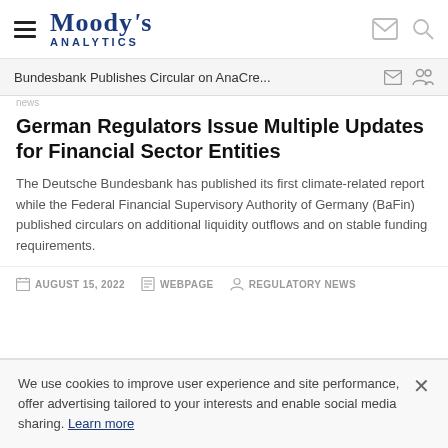Moody's Analytics
Bundesbank Publishes Circular on AnaCre...
German Regulators Issue Multiple Updates for Financial Sector Entities
The Deutsche Bundesbank has published its first climate-related report while the Federal Financial Supervisory Authority of Germany (BaFin) published circulars on additional liquidity outflows and on stable funding requirements.
AUGUST 15, 2022   WEBPAGE   REGULATORY NEWS
We use cookies to improve user experience and site performance, offer advertising tailored to your interests and enable social media sharing. Learn more